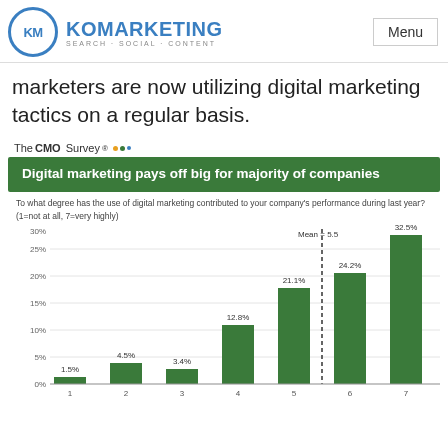KO MARKETING SEARCH · SOCIAL · CONTENT | Menu
marketers are now utilizing digital marketing tactics on a regular basis.
The CMO Survey
Digital marketing pays off big for majority of companies
To what degree has the use of digital marketing contributed to your company's performance during last year? (1=not at all, 7=very highly)
[Figure (bar-chart): Digital marketing pays off big for majority of companies]